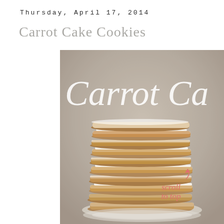Thursday, April 17, 2014
Carrot Cake Cookies
[Figure (photo): Photo of stacked carrot cake cookies dusted with powdered sugar on a plate, with overlay text 'Carrot Ca...' in cursive white script and a 'scroll to top' label in coral/pink cursive at bottom right.]